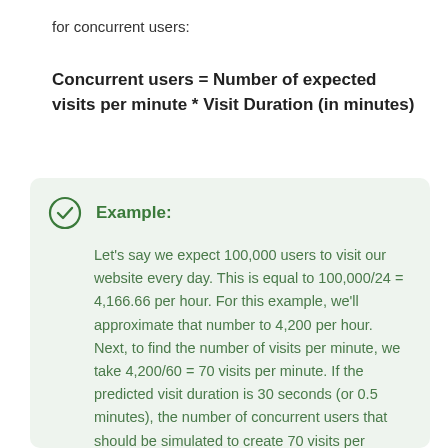for concurrent users:
Example:
Let's say we expect 100,000 users to visit our website every day. This is equal to 100,000/24 = 4,166.66 per hour. For this example, we'll approximate that number to 4,200 per hour.  Next, to find the number of visits per minute, we take 4,200/60 = 70 visits per minute. If the predicted visit duration is 30 seconds (or 0.5 minutes), the number of concurrent users that should be simulated to create 70 visits per minute is: